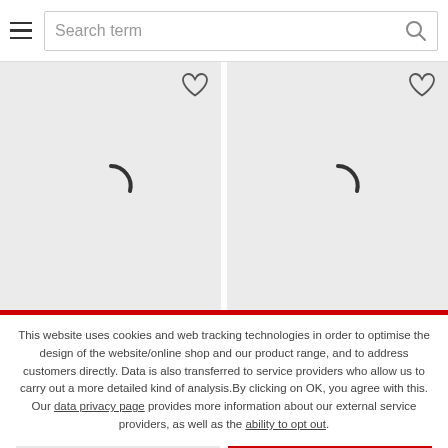[Figure (screenshot): Website search bar with hamburger menu icon on the left and a search input field with placeholder text 'Search term' and a magnifying glass icon on the right]
[Figure (screenshot): Two product grid cells with light gray backgrounds, each showing a heart/wishlist icon in the top-right corner and a loading spinner in the center, separated by a white vertical divider]
This website uses cookies and web tracking technologies in order to optimise the design of the website/online shop and our product range, and to address customers directly. Data is also transferred to service providers who allow us to carry out a more detailed kind of analysis.By clicking on OK, you agree with this. Our data privacy page provides more information about our external service providers, as well as the ability to opt out.
DECLINE
OK